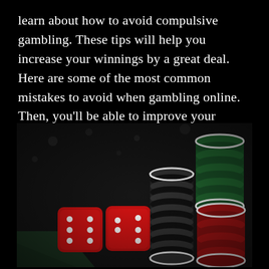learn about how to avoid compulsive gambling. These tips will help you increase your winnings by a great deal. Here are some of the most common mistakes to avoid when gambling online. Then, you'll be able to improve your chances of winning every time.
[Figure (photo): A dark photograph of casino gambling items on a table: two red dice showing various numbers, stacked casino chips (black/white stack, green stack, red/white stack) on a dark surface with a green felt table edge visible in the bottom left corner.]